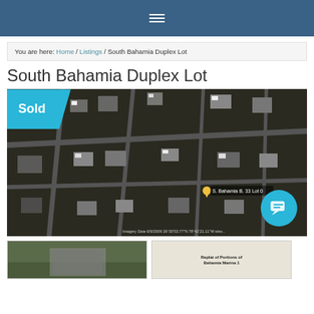≡
You are here: Home / Listings / South Bahamia Duplex Lot
South Bahamia Duplex Lot
[Figure (photo): Aerial satellite view of South Bahamia subdivision showing residential lots with a yellow pin marker labeled 'S. Bahamia B. 33 Lot 0'. A cyan 'Sold' badge overlays the top-left corner. Imagery date noted at the bottom.]
[Figure (photo): Thumbnail of a street-level or property photo]
[Figure (other): Thumbnail of a plat document titled 'Replat of Portions of Bahamia Marina...']